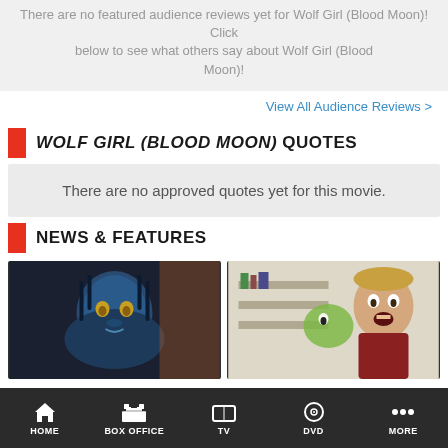There are no featured audience reviews yet for Wolf Girl (Blood Moon)! Click below to see what others say about Wolf Girl (Blood Moon)!
View All Audience Reviews >
WOLF GIRL (BLOOD MOON) QUOTES
There are no approved quotes yet for this movie.
NEWS & FEATURES
[Figure (photo): Movie still image - blue alien character from Avatar]
[Figure (photo): Movie still image - blonde male actor looking surprised]
HOME   BOX OFFICE   TV   DVD   MORE